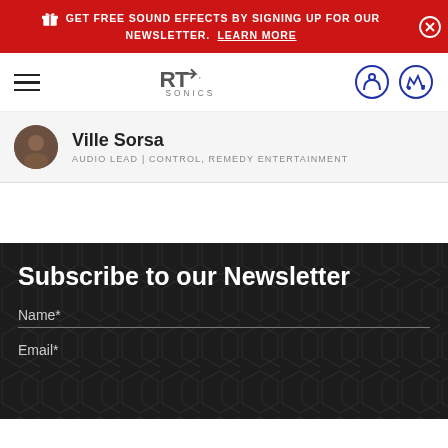GET FREE SOUND EFFECTS BY SIGNING UP FOR OUR NEWSLETTER. LEARN MORE
[Figure (logo): RT Sonics logo with shopping cart and user account icons in navigation bar]
Ville Sorsa
AUDIO LEAD | CONTROL, REMEDY ENTERTAINMENT
Subscribe to our Newsletter
Name*
Email*